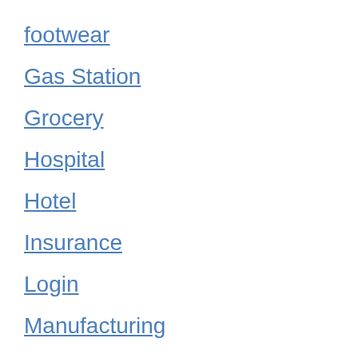footwear
Gas Station
Grocery
Hospital
Hotel
Insurance
Login
Manufacturing
paysip